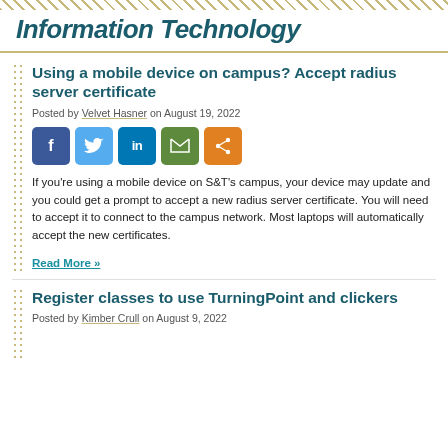Information Technology
Using a mobile device on campus? Accept radius server certificate
Posted by Velvet Hasner on August 19, 2022
[Figure (other): Social sharing buttons: Facebook, Twitter, LinkedIn, Email, Share]
If you're using a mobile device on S&T's campus, your device may update and you could get a prompt to accept a new radius server certificate. You will need to accept it to connect to the campus network. Most laptops will automatically accept the new certificates.
Read More »
Register classes to use TurningPoint and clickers
Posted by Kimber Crull on August 9, 2022